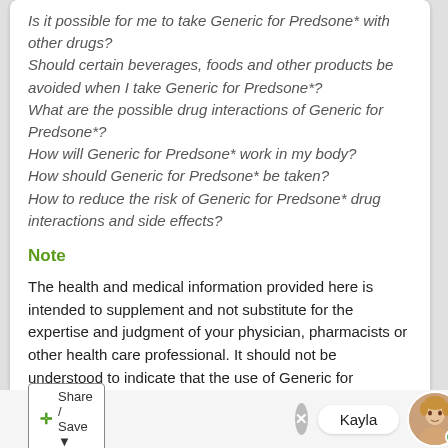Is it possible for me to take Generic for Predsone* with other drugs?
Should certain beverages, foods and other products be avoided when I take Generic for Predsone*?
What are the possible drug interactions of Generic for Predsone*?
How will Generic for Predsone* work in my body?
How should Generic for Predsone* be taken?
How to reduce the risk of Generic for Predsone* drug interactions and side effects?
Note
The health and medical information provided here is intended to supplement and not substitute for the expertise and judgment of your physician, pharmacists or other health care professional. It should not be understood to indicate that the use of Generic for Predsone* is safe, appropriate or effective for you. Always consult your health care professional before using this, or any other, drug.